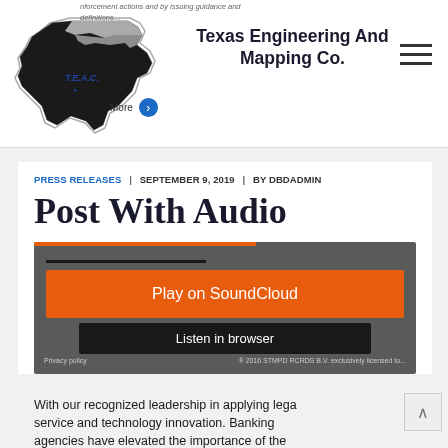Texas Engineering And Mapping Co.
enforcement actions and by issuing guidance and definitions.
More
PRESS RELEASES | SEPTEMBER 9, 2019 | BY DBDADMIN
Post With Audio
[Figure (screenshot): SoundCloud embedded audio player widget with orange Play on SoundCloud button, Listen in browser button, and footer with Privacy policy and copyright text: 2016 STMPD RCRDS B.V. exclusively licensed to...]
With our recognized leadership in applying legal service and technology innovation. Banking agencies have elevated the importance of the